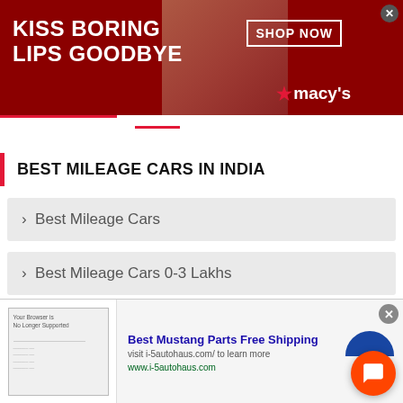[Figure (other): Advertisement banner: 'KISS BORING LIPS GOODBYE' with SHOP NOW button and Macy's logo on dark red background with woman's face]
BEST MILEAGE CARS IN INDIA
> Best Mileage Cars
> Best Mileage Cars 0-3 Lakhs
> Best Mileage Cars 4-6 Lakhs
> Best Mileage Cars 6-8 Lakhs
[Figure (other): Bottom advertisement: 'Best Mustang Parts Free Shipping' - visit i-5autohaus.com/ to learn more, www.i-5autohaus.com]